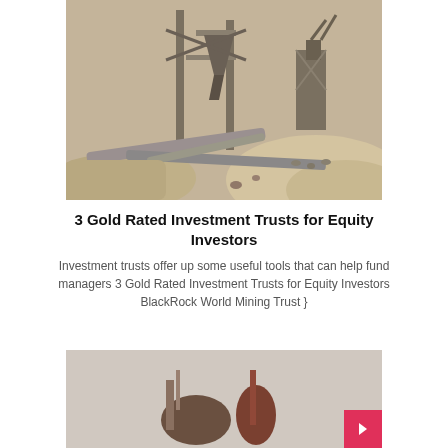[Figure (photo): Aerial view of mining equipment and conveyor belts at a gold/ore mining operation, showing industrial machinery, structural supports, and raw earth/rock material.]
3 Gold Rated Investment Trusts for Equity Investors
Investment trusts offer up some useful tools that can help fund managers 3 Gold Rated Investment Trusts for Equity Investors BlackRock World Mining Trust }
[Figure (photo): Partial view of another image at the bottom of the page, showing what appears to be equipment or animals on a light grey background.]